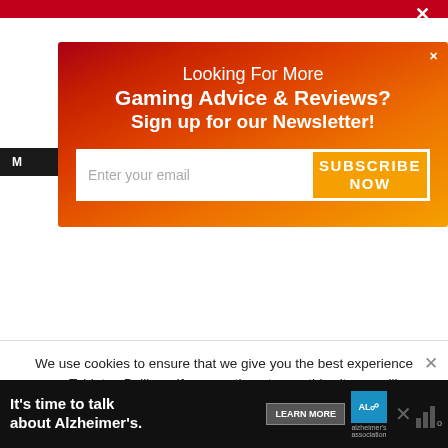M [navigation bar]
[Figure (infographic): Newsletter signup popup modal with gradient background from dark red to orange. Title reads 'Looking For More Gaming Advice & Reviews? Sign up for our Newsletter!' with an email input field and orange SUBSCRIBE NOW button.]
use deck-building) and for that, it will always have my respect.
Despite its drab graphic design and badly pasted on theme Dominion still stands up as an excellent deck-
We use cookies to ensure that we give you the best experience on Tabletop Bellhop. If you continue to use this site we will assume that you are happy with it.
[Figure (infographic): Advertisement banner with black background: "It's time to talk about Alzheimer's." with a LEARN MORE button and Alzheimer's Association logo.]